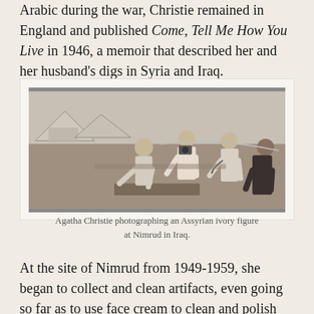Arabic during the war, Christie remained in England and published Come, Tell Me How You Live in 1946, a memoir that described her and her husband's digs in Syria and Iraq.
[Figure (photo): Black and white photograph of Agatha Christie and three other people standing outdoors, with Christie bending over photographing an object on the ground. Tents visible in background.]
Agatha Christie photographing an Assyrian ivory figure at Nimrud in Iraq.
At the site of Nimrud from 1949-1959, she began to collect and clean artifacts, even going so far as to use face cream to clean and polish ivory